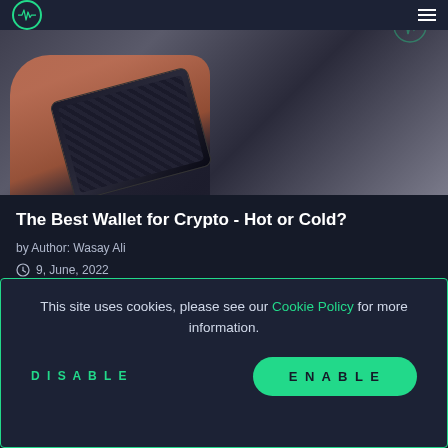[Figure (photo): Photo of a person's hand holding a dark leather/textured wallet against a grey background, with a green pulse/heartbeat logo circle in the top left corner.]
The Best Wallet for Crypto - Hot or Cold?
by Author: Wasay Ali
9, June, 2022
Which is the best crypto wallet: Hot or cold?
This site uses cookies, please see our Cookie Policy for more information.
DISABLE
ENABLE